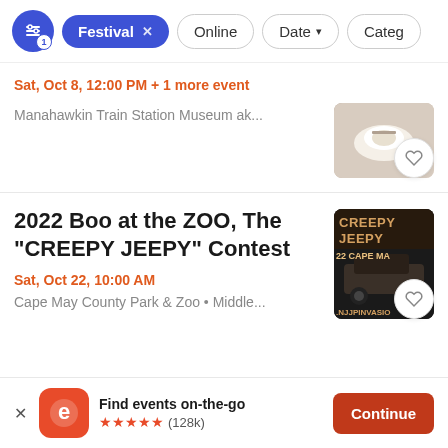[Figure (screenshot): Filter bar with settings icon with badge '1', active 'Festival x' pill in blue, and outline pills: Online, Date with chevron, Catego (truncated)]
Sat, Oct 8, 12:00 PM + 1 more event
Manahawkin Train Station Museum ak...
2022 Boo at the ZOO, The "CREEPY JEEPY" Contest
Sat, Oct 22, 10:00 AM
Cape May County Park & Zoo • Middle...
Find events on-the-go  ★★★★★ (128k)
Continue